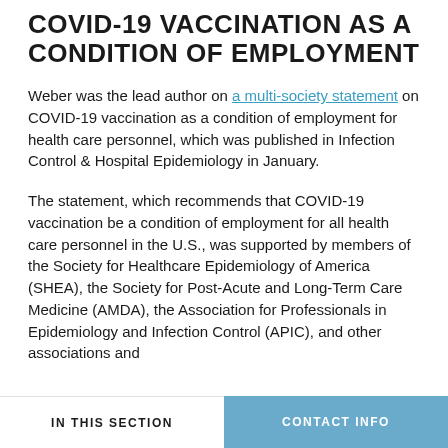COVID-19 VACCINATION AS A CONDITION OF EMPLOYMENT
Weber was the lead author on a multi-society statement on COVID-19 vaccination as a condition of employment for health care personnel, which was published in Infection Control & Hospital Epidemiology in January.
The statement, which recommends that COVID-19 vaccination be a condition of employment for all health care personnel in the U.S., was supported by members of the Society for Healthcare Epidemiology of America (SHEA), the Society for Post-Acute and Long-Term Care Medicine (AMDA), the Association for Professionals in Epidemiology and Infection Control (APIC), and other associations and
IN THIS SECTION | CONTACT INFO